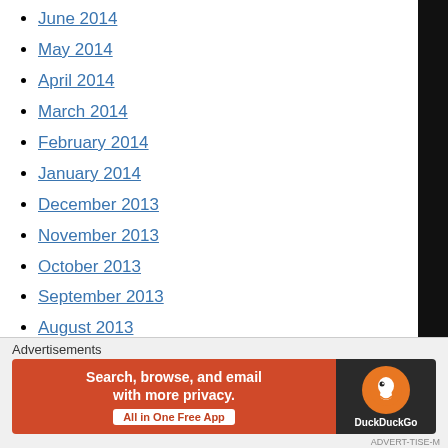June 2014
May 2014
April 2014
March 2014
February 2014
January 2014
December 2013
November 2013
October 2013
September 2013
August 2013
July 2013
June 2013
May 2013
Advertisements
[Figure (infographic): DuckDuckGo advertisement banner: orange left section with text 'Search, browse, and email with more privacy. All in One Free App', dark right section with DuckDuckGo logo]